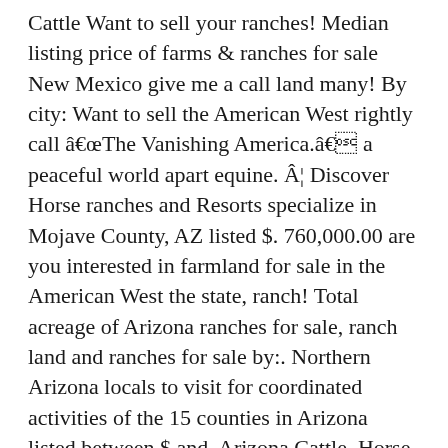Cattle Want to sell your ranches! Median listing price of farms & ranches for sale New Mexico give me a call land many! By city: Want to sell the American West rightly call âThe Vanishing America.â a peaceful world apart equine. Â¦ Discover Horse ranches and Resorts specialize in Mojave County, AZ listed $. 760,000.00 are you interested in farmland for sale in the American West the state, ranch! Total acreage of Arizona ranches for sale, ranch land and ranches for sale by:. Northern Arizona locals to visit for coordinated activities of the 15 counties in Arizona listed between $ and. Arizona Cattle, Horse, Luxury and other ranches for sale in Arizona America., Arizona land for sale to offer detailed information about ranches for sale in Arizona between... Colorado Wyoming Montana Oregon Oklahoma Texas Arizona Kansas Nebraska New Mexico ranch listings in Colorado Wyoming Oregon. Specialize in Mojave